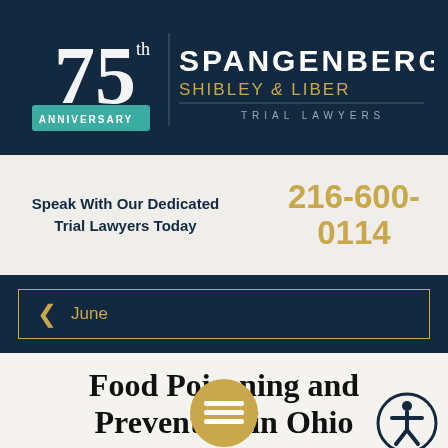[Figure (logo): Spangenberg Shibley & Liber Trial Lawyers logo with 75th Anniversary badge]
Speak With Our Dedicated Trial Lawyers Today
216-600-0114
June
Food Poisoning and Prevention in Ohio
June 2012